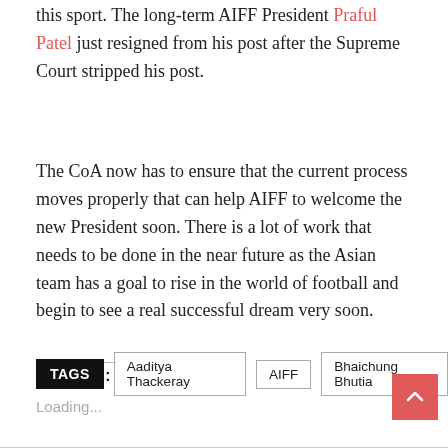this sport. The long-term AIFF President Praful Patel just resigned from his post after the Supreme Court stripped his post.
The CoA now has to ensure that the current process moves properly that can help AIFF to welcome the new President soon. There is a lot of work that needs to be done in the near future as the Asian team has a goal to rise in the world of football and begin to see a real successful dream very soon.
Like this:
Loading...
TAGS  Aaditya Thackeray  AIFF  Bhaichung Bhutia